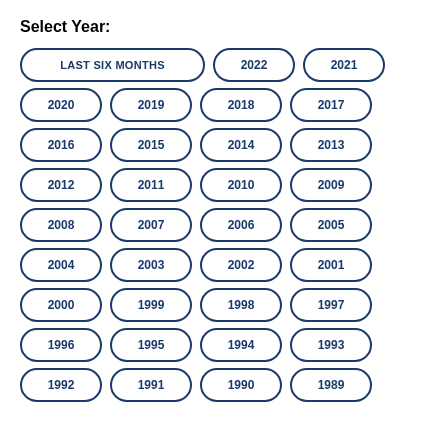Select Year:
LAST SIX MONTHS
2022
2021
2020
2019
2018
2017
2016
2015
2014
2013
2012
2011
2010
2009
2008
2007
2006
2005
2004
2003
2002
2001
2000
1999
1998
1997
1996
1995
1994
1993
1992
1991
1990
1989